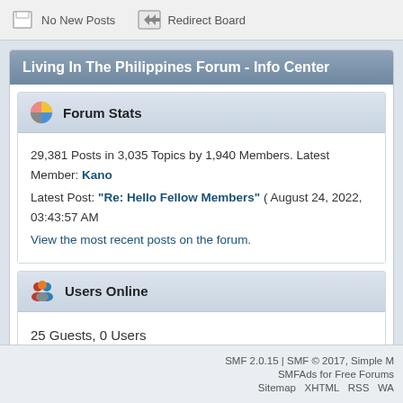No New Posts
Redirect Board
Living In The Philippines Forum - Info Center
Forum Stats
29,381 Posts in 3,035 Topics by 1,940 Members. Latest Member: Kano
Latest Post: "Re: Hello Fellow Members" ( August 24, 2022, 03:43:57 AM
View the most recent posts on the forum.
Users Online
25 Guests, 0 Users
No user is in chat.
Most Online Today: 131. Most Online Ever: 224 (July 01, 2015, 12:26:49 PM)
SMF 2.0.15 | SMF © 2017, Simple M
SMFAds for Free Forums
Sitemap XHTML RSS WA